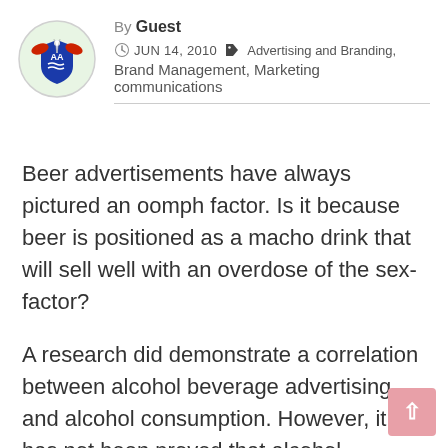[Figure (logo): Circular avatar icon with a blue shield/crest design, red wings, and figure on a light green background]
By Guest
JUN 14, 2010   Advertising and Branding, Brand Management, Marketing communications
Beer advertisements have always pictured an oomph factor. Is it because beer is positioned as a macho drink that will sell well with an overdose of the sex-factor?
A research did demonstrate a correlation between alcohol beverage advertising and alcohol consumption. However, it has not been proved that alcohol advertisements cause higher consumption. However the alcohol industry, from its actions, evidently believes that